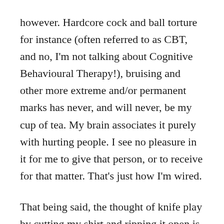however. Hardcore cock and ball torture for instance (often referred to as CBT, and no, I'm not talking about Cognitive Behavioural Therapy!), bruising and other more extreme and/or permanent marks has never, and will never, be my cup of tea. My brain associates it purely with hurting people. I see no pleasure in it for me to give that person, or to receive for that matter. That's just how I'm wired.
That being said, the thought of knife play by cutting my shirt and ripping it open is rather hot…
Sensuality and power exchange is absolutely where it's at for me; the foundation of my sexuality and my tastes in kinky play. My kinks, however gentle or